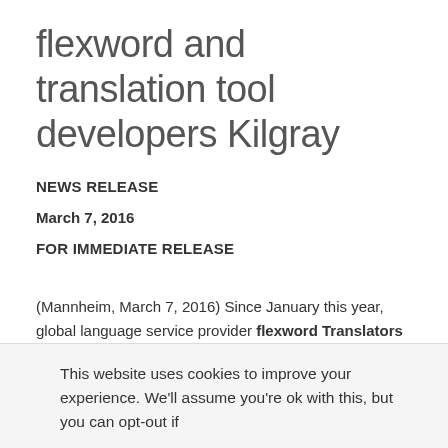flexword and translation tool developers Kilgray
NEWS RELEASE
March 7, 2016
FOR IMMEDIATE RELEASE
(Mannheim, March 7, 2016) Since January this year, global language service provider flexword Translators & Consultants has entered into a strategic partnership with Kilgray, provider of MemoQ, the database supported
This website uses cookies to improve your experience. We'll assume you're ok with this, but you can opt-out if